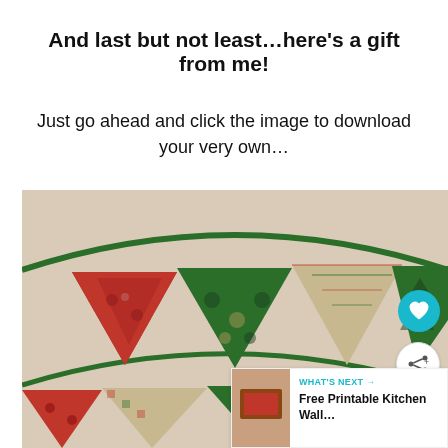And last but not least…here's a gift from me!
Just go ahead and click the image to download your very own…
[Figure (illustration): Christmas bunting/banner with decorative triangular pennants in red, green, and patterned fabrics hanging on a green cord against a beige/kraft paper background. Bottom portion shows a second row of pennants partially visible.]